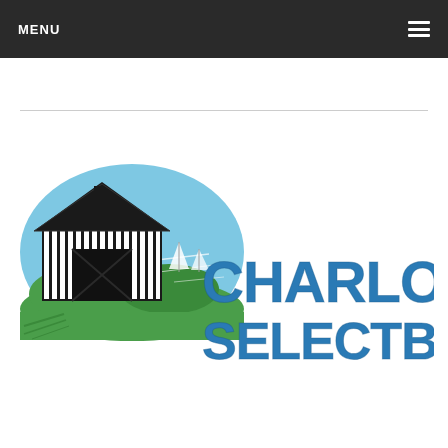MENU
[Figure (logo): Charlotte Selectboard logo featuring a covered bridge icon on a blue-green oval background with green hills and water, alongside bold blue text reading CHARLOTTE SELECTBOARD]